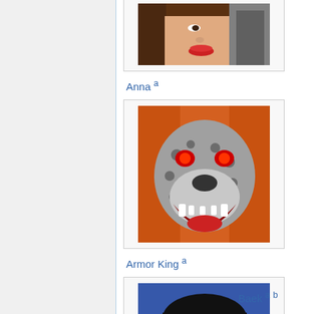[Figure (illustration): Character portrait of Anna from a video game - partial view of a woman's face with red lips]
Anna a
[Figure (illustration): Character portrait of Armor King - a roaring leopard/jaguar head with red eyes and open mouth showing teeth]
Armor King a
[Figure (illustration): Character portrait of Baek - a serious-looking Asian man with short black hair and intense expression]
Baek a b